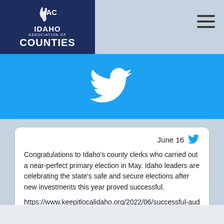[Figure (logo): Idaho Association of Counties logo with white IAC letters and bird graphic on dark navy background]
[Figure (illustration): Twitter bird logo in white on light blue (#1DA1F2) background banner]
June 16
Congratulations to Idaho's county clerks who carried out a near-perfect primary election in May. Idaho leaders are celebrating the state's safe and secure elections after new investments this year proved successful.
https://www.keepitlocalidaho.org/2022/06/successful-audits-p...